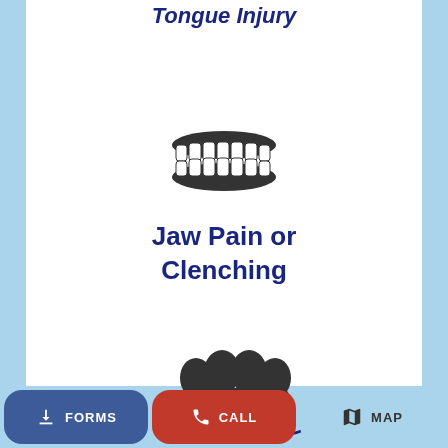Tongue Injury
[Figure (illustration): Dark gray icon of teeth/dental model showing upper and lower teeth clenched together]
Jaw Pain or Clenching
[Figure (illustration): Dark icon of a hand/fist with swirl lines, representing jaw or muscle clenching]
FORMS   CALL   MAP